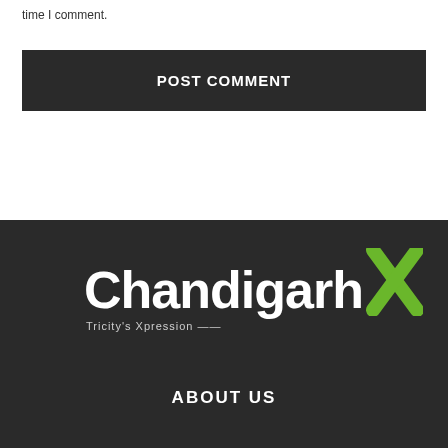time I comment.
POST COMMENT
[Figure (logo): ChandigarhX logo with tagline 'Tricity's Xpression' on dark background]
ABOUT US